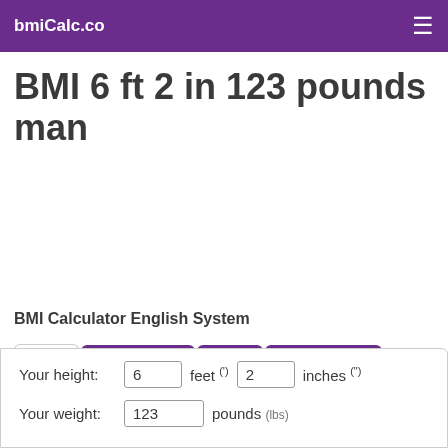bmiCalc.co
BMI 6 ft 2 in 123 pounds man
BMI Calculator English System
BMI lb | Ideal weight lb | BMI kg | Ideal weight kg (tabs)
Your height: 6 feet (') 2 inches (") Your weight: 123 pounds (lbs)